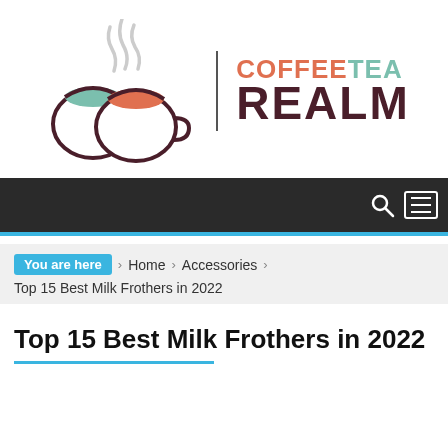[Figure (logo): Coffee Tea Realm logo with two stylized coffee cups (one with green rim, one with red/orange rim) and steam rising, next to a vertical divider and the text COFFEE TEA REALM]
Navigation bar with search and menu icons
You are here  Home  Accessories  Top 15 Best Milk Frothers in 2022
Top 15 Best Milk Frothers in 2022